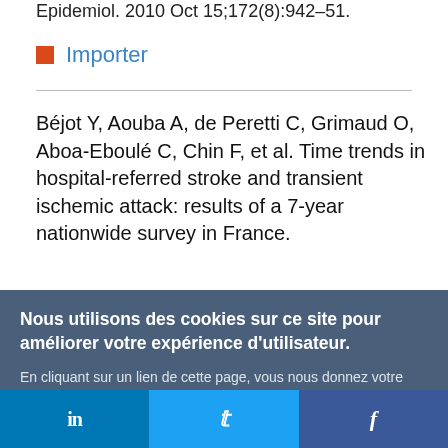Epidemiol. 2010 Oct 15;172(8):942–51.
Importer
Béjot Y, Aouba A, de Peretti C, Grimaud O, Aboa-Eboulé C, Chin F, et al. Time trends in hospital-referred stroke and transient ischemic attack: results of a 7-year nationwide survey in France.
Nous utilisons des cookies sur ce site pour améliorer votre expérience d'utilisateur.

En cliquant sur un lien de cette page, vous nous donnez votre consentement de définir des cookies.
Oui, je suis d'accord
Plus d'infos
[Figure (other): Social media footer bar with LinkedIn, Twitter, and Facebook icons]